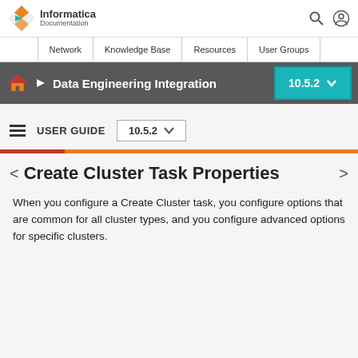Informatica Documentation
Network | Knowledge Base | Resources | User Groups
Data Engineering Integration 10.5.2
USER GUIDE 10.5.2
Create Cluster Task Properties
When you configure a Create Cluster task, you configure options that are common for all cluster types, and you configure advanced options for specific clusters.